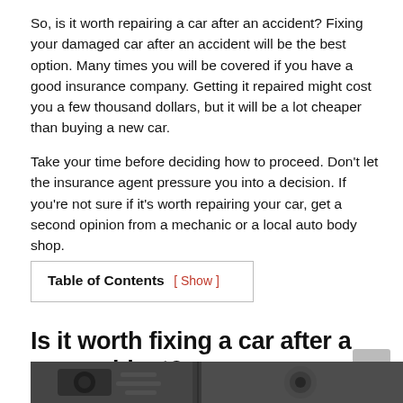So, is it worth repairing a car after an accident? Fixing your damaged car after an accident will be the best option. Many times you will be covered if you have a good insurance company. Getting it repaired might cost you a few thousand dollars, but it will be a lot cheaper than buying a new car.
Take your time before deciding how to proceed. Don't let the insurance agent pressure you into a decision. If you're not sure if it's worth repairing your car, get a second opinion from a mechanic or a local auto body shop.
| Table of Contents | [ Show ] |
Is it worth fixing a car after a car accident?
[Figure (photo): Dark photograph showing a damaged car engine/mechanical parts after an accident, black and white tones]